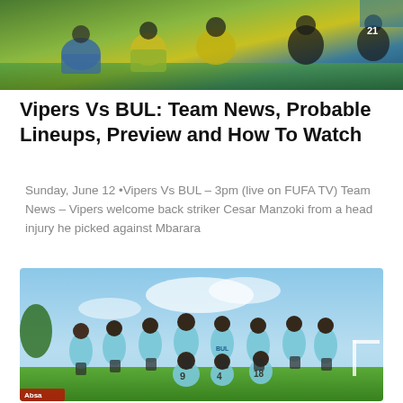[Figure (photo): Soccer/football players warming up on a field, wearing yellow-green and blue jerseys, outdoors on a grass pitch.]
Vipers Vs BUL: Team News, Probable Lineups, Preview and How To Watch
Sunday, June 12 •Vipers Vs BUL – 3pm (live on FUFA TV) Team News – Vipers welcome back striker Cesar Manzoki from a head injury he picked against Mbarara
[Figure (photo): A group of soccer players in light blue jerseys celebrating together on a grass field, posing for a team photo after a match.]